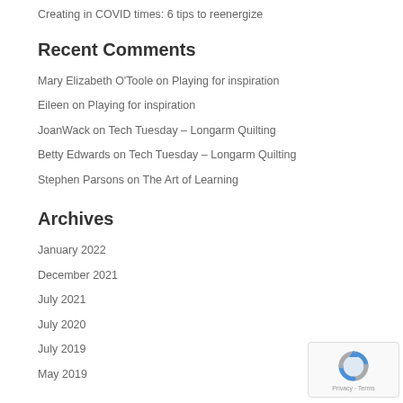Creating in COVID times: 6 tips to reenergize
Recent Comments
Mary Elizabeth O'Toole on Playing for inspiration
Eileen on Playing for inspiration
JoanWack on Tech Tuesday – Longarm Quilting
Betty Edwards on Tech Tuesday – Longarm Quilting
Stephen Parsons on The Art of Learning
Archives
January 2022
December 2021
July 2021
July 2020
July 2019
May 2019